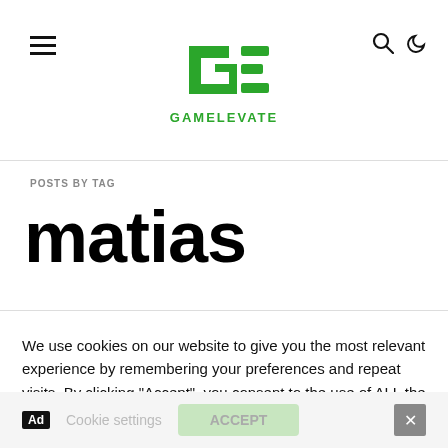GAMELEVATE
POSTS BY TAG
matias
We use cookies on our website to give you the most relevant experience by remembering your preferences and repeat visits. By clicking “Accept”, you consent to the use of ALL the cookies.
Do not sell my personal information.
Cookie settings   ACCEPT   ×